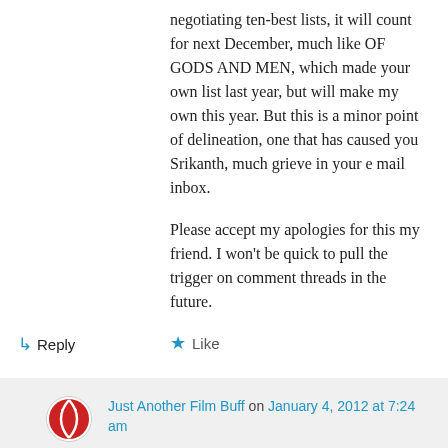negotiating ten-best lists, it will count for next December, much like OF GODS AND MEN, which made your own list last year, but will make my own this year. But this is a minor point of delineation, one that has caused you Srikanth, much grieve in your e mail inbox.
Please accept my apologies for this my friend. I won't be quick to pull the trigger on comment threads in the future.
★ Like
↳ Reply
Just Another Film Buff on January 4, 2012 at 7:24 am